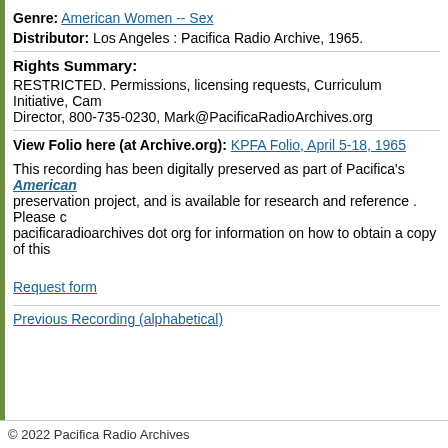Genre: American Women -- Sex
Distributor: Los Angeles : Pacifica Radio Archive, 1965.
Rights Summary:
RESTRICTED. Permissions, licensing requests, Curriculum Initiative, Cam... Director, 800-735-0230, Mark@PacificaRadioArchives.org
View Folio here (at Archive.org): KPFA Folio, April 5-18, 1965
This recording has been digitally preserved as part of Pacifica's American... preservation project, and is available for research and reference . Please c... pacificaradioarchives dot org for information on how to obtain a copy of this
Request form
Previous Recording (alphabetical)
© 2022 Pacifica Radio Archives